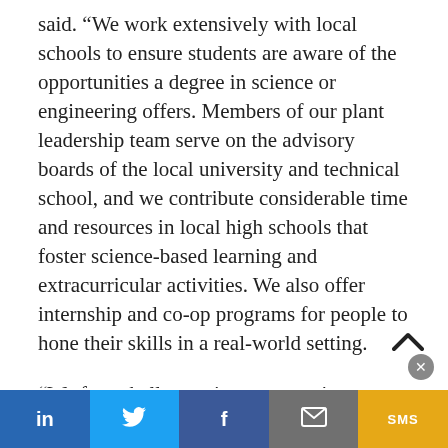said. “We work extensively with local schools to ensure students are aware of the opportunities a degree in science or engineering offers. Members of our plant leadership team serve on the advisory boards of the local university and technical school, and we contribute considerable time and resources in local high schools that foster science-based learning and extracurricular activities. We also offer internship and co-op programs for people to hone their skills in a real-world setting.
“We face challenges in our operations as well. We spend a lot of time communicating about our process and personal safety programs. These programs are designed to ensure our employees leave work unharmed and return to work unharmed. The programs reinforce the idea we need to be goo…
[Figure (other): Social media share bar with buttons for LinkedIn, Twitter, Facebook, Email, and SMS]